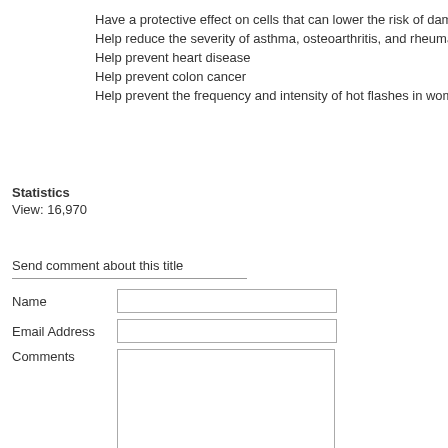Have a protective effect on cells that can lower the risk of damage and infla...
Help reduce the severity of asthma, osteoarthritis, and rheumatoid arthritis
Help prevent heart disease
Help prevent colon cancer
Help prevent the frequency and intensity of hot flashes in women going thro...
Statistics
View: 16,970
Send comment about this title
| Field | Input |
| --- | --- |
| Name |  |
| Email Address |  |
| Comments |  |